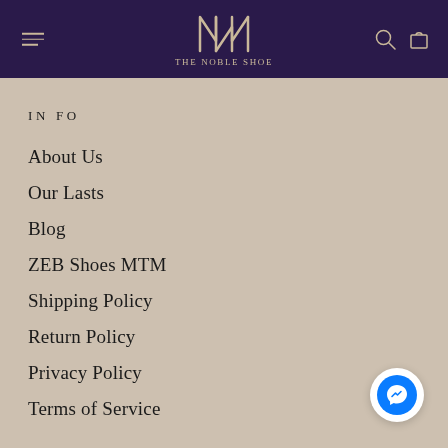THE NOBLE SHOE
INFO
About Us
Our Lasts
Blog
ZEB Shoes MTM
Shipping Policy
Return Policy
Privacy Policy
Terms of Service
[Figure (illustration): Facebook Messenger chat button, blue circle with white lightning bolt logo]